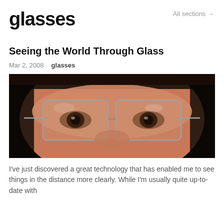glasses
All sections →
Seeing the World Through Glass
Mar 2, 2008   glasses
[Figure (photo): Close-up photo of a person's eyes wearing rectangular wire-rimmed glasses, showing forehead and nose bridge, dark background on sides]
I've just discovered a great technology that has enabled me to see things in the distance more clearly. While I'm usually quite up-to-date with